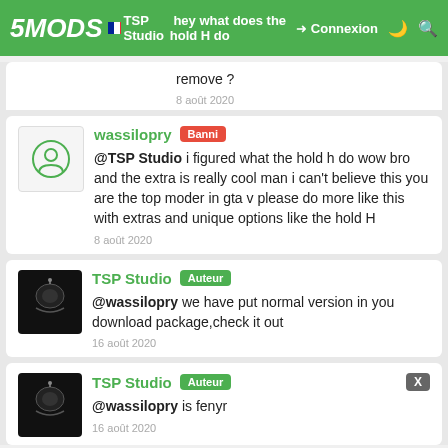5MODS | TSP Studio | Connexion
@TSP Studio hey what does the hold H do remove ?
8 août 2020
wassilopry Banni
@TSP Studio i figured what the hold h do wow bro and the extra is really cool man i can't believe this you are the top moder in gta v please do more like this with extras and unique options like the hold H
8 août 2020
TSP Studio Auteur
@wassilopry we have put normal version in you download package,check it out
16 août 2020
TSP Studio Auteur
@wassilopry is fenyr
16 août 2020